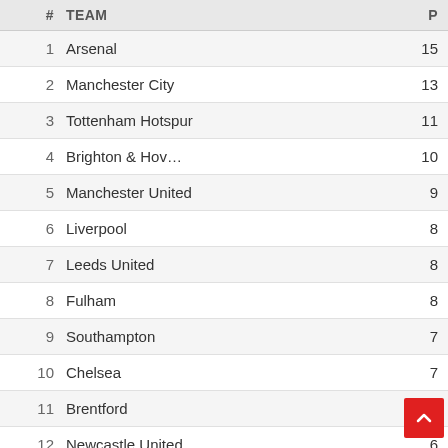| # | TEAM | P |
| --- | --- | --- |
| 1 | Arsenal | 15 |
| 2 | Manchester City | 13 |
| 3 | Tottenham Hotspur | 11 |
| 4 | Brighton & Hov… | 10 |
| 5 | Manchester United | 9 |
| 6 | Liverpool | 8 |
| 7 | Leeds United | 8 |
| 8 | Fulham | 8 |
| 9 | Southampton | 7 |
| 10 | Chelsea | 7 |
| 11 | Brentford | 6 |
| 12 | Newcastle United | 6 |
| 13 | Crystal Palace | 5 |
| 14 | West Ham United | 4 |
| 15 | Nottingham Forest | 4 |
| 16 | AFC Bournemouth |  |
| 17 | Everton | 3 |
| 18 | Wolverhampton Wanderers | 3 |